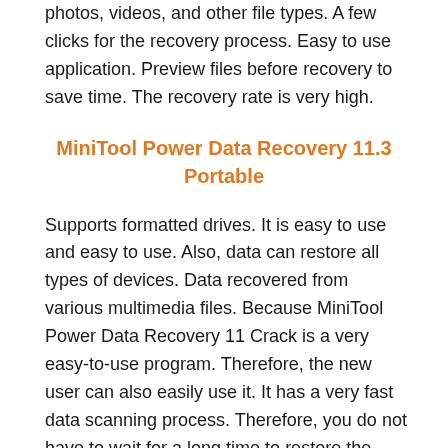photos, videos, and other file types. A few clicks for the recovery process. Easy to use application. Preview files before recovery to save time. The recovery rate is very high.
MiniTool Power Data Recovery 11.3 Portable
Supports formatted drives. It is easy to use and easy to use. Also, data can restore all types of devices. Data recovered from various multimedia files. Because MiniTool Power Data Recovery 11 Crack is a very easy-to-use program. Therefore, the new user can also easily use it. It has a very fast data scanning process. Therefore, you do not have to wait for a long time to restore the data. The best recovery tool MiniTool Power Data Recovery Patch of this type can not find all the data. Recover the file if there is an error in the partition. Easy download and simple installation.
MiniTool Power Data Recovery License Code 2022